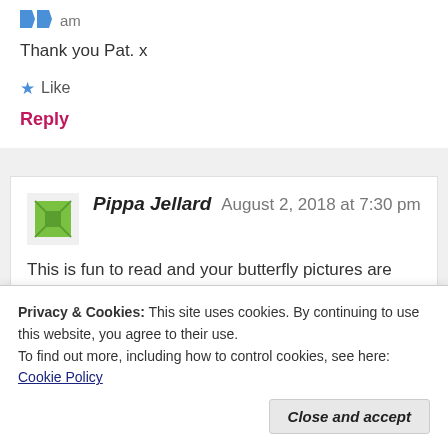am
Thank you Pat. x
Like
Reply
Pippa Jellard  August 2, 2018 at 7:30 pm
This is fun to read and your butterfly pictures are
Privacy & Cookies: This site uses cookies. By continuing to use this website, you agree to their use.
To find out more, including how to control cookies, see here: Cookie Policy
Close and accept